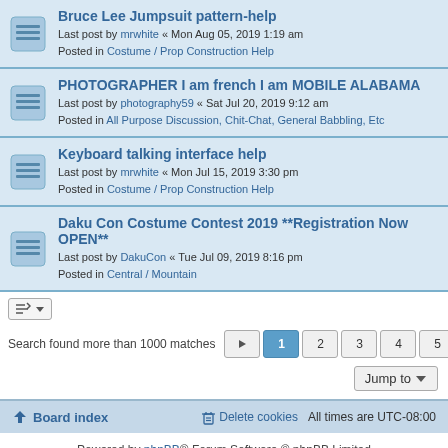Bruce Lee Jumpsuit pattern-help
Last post by mrwhite « Mon Aug 05, 2019 1:19 am
Posted in Costume / Prop Construction Help
PHOTOGRAPHER I am french I am MOBILE ALABAMA
Last post by photography59 « Sat Jul 20, 2019 9:12 am
Posted in All Purpose Discussion, Chit-Chat, General Babbling, Etc
Keyboard talking interface help
Last post by mrwhite « Mon Jul 15, 2019 3:30 pm
Posted in Costume / Prop Construction Help
Daku Con Costume Contest 2019 **Registration Now OPEN**
Last post by DakuCon « Tue Jul 09, 2019 8:16 pm
Posted in Central / Mountain
Search found more than 1000 matches  1 2 3 4 5 ... 20
Jump to
Board index   Delete cookies   All times are UTC-08:00
Powered by phpBB® Forum Software © phpBB Limited
Privacy | Terms